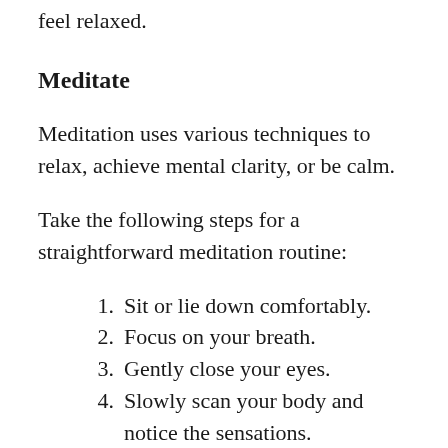feel relaxed.
Meditate
Meditation uses various techniques to relax, achieve mental clarity, or be calm.
Take the following steps for a straightforward meditation routine:
1. Sit or lie down comfortably.
2. Focus on your breath.
3. Gently close your eyes.
4. Slowly scan your body and notice the sensations.
5. Be aware of your thoughts.